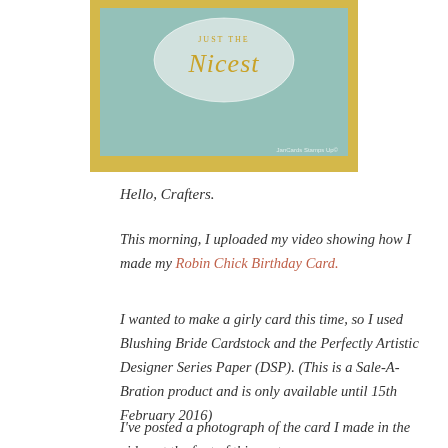[Figure (photo): A handmade greeting card with a mint/teal background and a white oval label reading 'Just the Nicest' in gold script, on a yellow background. Watermark text 'JanCards Stamps Up' visible in bottom right.]
Hello, Crafters.
This morning, I uploaded my video showing how I made my Robin Chick Birthday Card.
I wanted to make a girly card this time, so I used Blushing Bride Cardstock and the Perfectly Artistic Designer Series Paper (DSP). (This is a Sale-A-Bration product and is only available until 15th February 2016)
I've posted a photograph of the card I made in the video at the foot of this post.